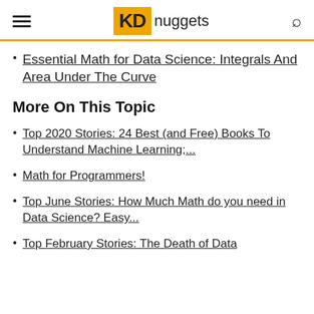KD nuggets
Essential Math for Data Science: Integrals And Area Under The Curve
More On This Topic
Top 2020 Stories: 24 Best (and Free) Books To Understand Machine Learning;...
Math for Programmers!
Top June Stories: How Much Math do you need in Data Science? Easy...
Top February Stories: The Death of Data